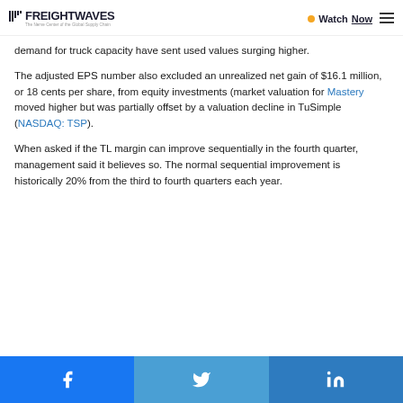FREIGHTWAVES — Watch Now
demand for truck capacity have sent used values surging higher.
The adjusted EPS number also excluded an unrealized net gain of $16.1 million, or 18 cents per share, from equity investments (market valuation for Mastery moved higher but was partially offset by a valuation decline in TuSimple (NASDAQ: TSP).
When asked if the TL margin can improve sequentially in the fourth quarter, management said it believes so. The normal sequential improvement is historically 20% from the third to fourth quarters each year.